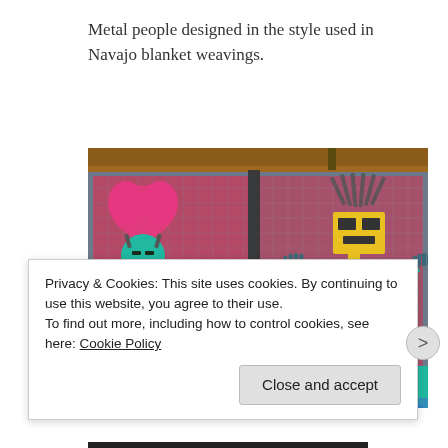Metal people designed in the style used in Navajo blanket weavings.
[Figure (photo): Photograph of two colorful metal sculptures designed in the style of Navajo blanket weavings. The left figure has a pink heart-shaped headdress and teal body with blue arms raised. The right figure has a feathered headdress and a yellow rectangular face/mask with teal geometric body. Both are mounted on a metal grid background with colorful red and blue elements below.]
Privacy & Cookies: This site uses cookies. By continuing to use this website, you agree to their use.
To find out more, including how to control cookies, see here: Cookie Policy
Close and accept